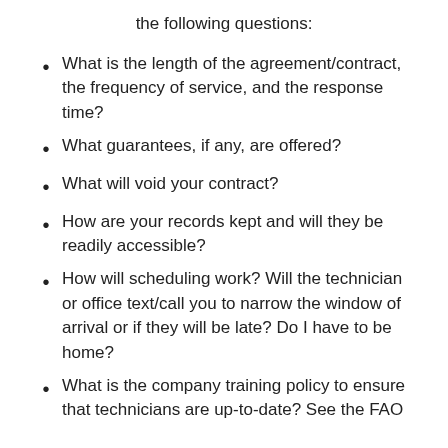the following questions:
What is the length of the agreement/contract, the frequency of service, and the response time?
What guarantees, if any, are offered?
What will void your contract?
How are your records kept and will they be readily accessible?
How will scheduling work? Will the technician or office text/call you to narrow the window of arrival or if they will be late? Do I have to be home?
What is the company training policy to ensure that technicians are up-to-date? See the FAO